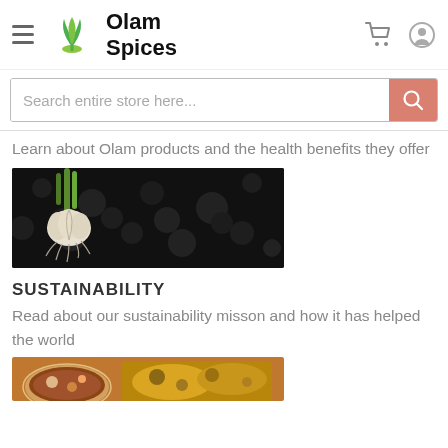Olam Spices — navigation bar with logo, hamburger menu, cart and profile icons
Search entire store here...
Learn about Olam products and the health benefits they offer
[Figure (photo): A garlic bulb with roots against dark soil/earth background]
SUSTAINABILITY
Read about our sustainability misson and how it has helped the world
[Figure (photo): Partial bottom image showing food dishes, partially cut off]